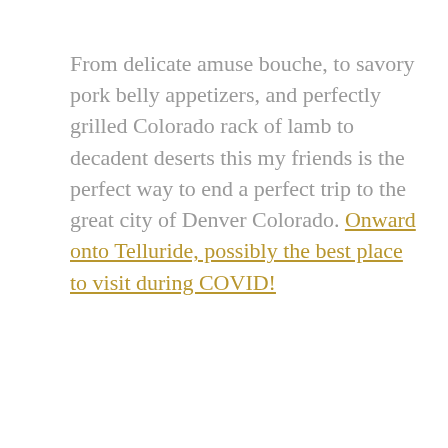From delicate amuse bouche, to savory pork belly appetizers, and perfectly grilled Colorado rack of lamb to decadent deserts this my friends is the perfect way to end a perfect trip to the great city of Denver Colorado. Onward onto Telluride, possibly the best place to visit during COVID!